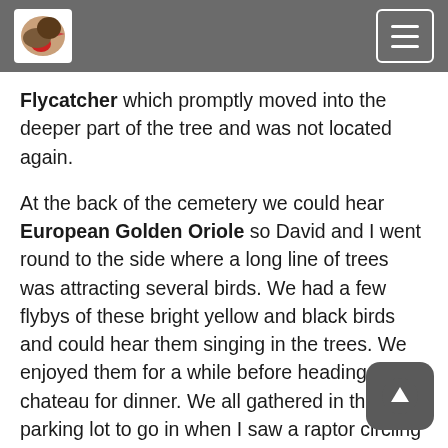[Bird logo and navigation menu]
Flycatcher which promptly moved into the deeper part of the tree and was not located again.
At the back of the cemetery we could hear European Golden Oriole so David and I went round to the side where a long line of trees was attracting several birds. We had a few flybys of these bright yellow and black birds and could hear them singing in the trees. We enjoyed them for a while before heading to the chateau for dinner. We all gathered in the parking lot to go in when I saw a raptor circling out over the co side. I watched for a few seconds until it tu towards me and I could see the “landing lights”